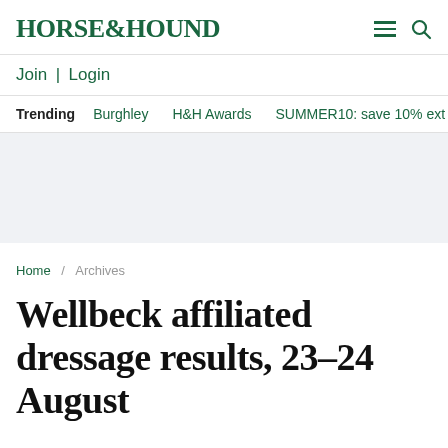HORSE&HOUND
Join | Login
Trending  Burghley  H&H Awards  SUMMER10: save 10% ext
[Figure (other): Advertisement placeholder area with light grey background]
Home / Archives
Wellbeck affiliated dressage results, 23–24 August